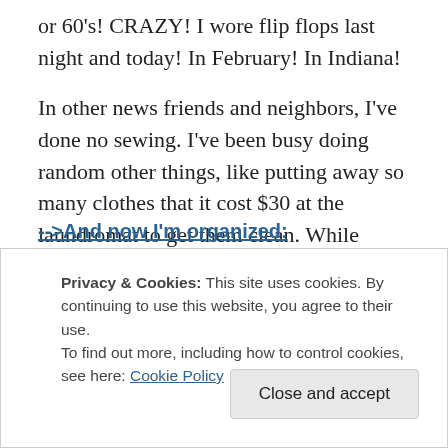or 60's! CRAZY! I wore flip flops last night and today! In February! In Indiana!
In other news friends and neighbors, I've done no sewing. I've been busy doing random other things, like putting away so many clothes that it cost $30 at the laundromat to get them clean. While doing that, I realized that I have a severe lack of storage for clothes. Not enough hangers for stuff that can be hung, and not enough drawers for all the stuff that needs to lay down, like sweaters. I have a ton of tee shirts as well, not like the cute kind, but you know, the
Privacy & Cookies: This site uses cookies. By continuing to use this website, you agree to their use.
To find out more, including how to control cookies, see here: Cookie Policy
-->And now I'm organized: